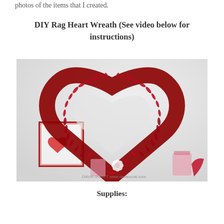photos of the items that I created.
DIY Rag Heart Wreath (See video below for instructions)
[Figure (photo): A DIY rag heart wreath made from red fabric strips tied onto a heart-shaped form, hung on a white wall above a mantel with pink and white decorations. Watermark reads: DAVIE SCOTT www.daviescott.com]
Supplies: